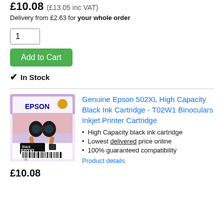£10.08 (£13.05 inc VAT)
Delivery from £2.63 for your whole order
1
Add to Cart
✔ In Stock
[Figure (photo): Epson 502XL Black High Capacity ink cartridge product packaging with binoculars image]
Genuine Epson 502XL High Capacity Black Ink Cartridge - T02W1 Binoculars Inkjet Printer Cartridge
High Capacity black ink cartridge
Lowest delivered price online
100% guaranteed compatibility
Product details
£10.08